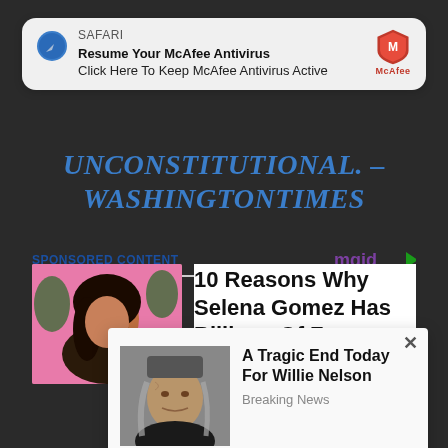[Figure (screenshot): Safari browser notification popup: 'Resume Your McAfee Antivirus' / 'Click Here To Keep McAfee Antivirus Active' with McAfee logo and 'now' timestamp]
UNCONSTITUTIONAL. – WASHINGTONTIMES
SPONSORED CONTENT
[Figure (photo): Photo of a young woman with long dark hair against a pink background (Selena Gomez-style)]
10 Reasons Why Selena Gomez Has Billions Of Fans
[Figure (screenshot): Popup advertisement card with close button (×), photo of elderly man (Willie Nelson), headline 'A Tragic End Today For Willie Nelson', subtext 'Breaking News']